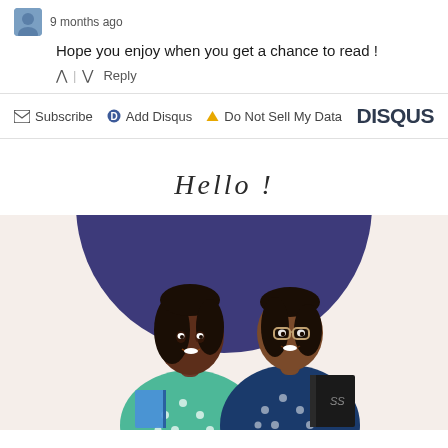9 months ago
Hope you enjoy when you get a chance to read !
^ | v Reply
Subscribe   Add Disqus   Do Not Sell My Data   DISQUS
Hello !
[Figure (illustration): Illustration of two women sitting back to back, one in a teal polka-dot top holding a book, one in a navy polka-dot top holding a dark book, against a large dark purple circle on a light peach background.]